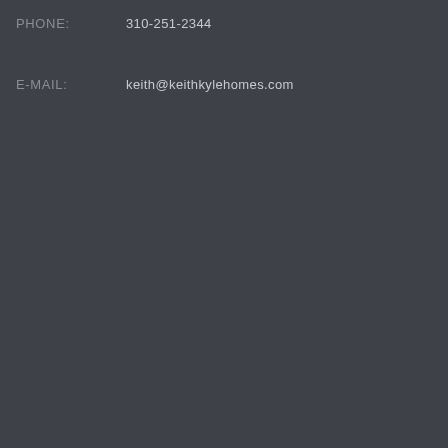PHONE: 310-251-2344
E-MAIL: keith@keithkylehomes.com